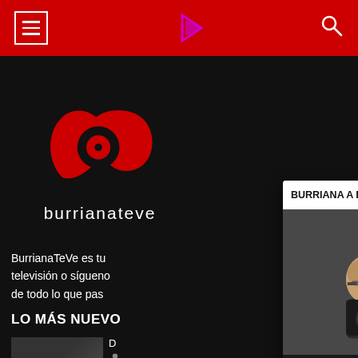burrianateve navigation bar
[Figure (logo): Burrianateve logo - red stylized 'b' with arrow, text 'burrianateve' below on dark background]
BurrianaTeVe es tu televisión o síguenos de todo lo que pas...
LO MÁS NUEVO
[Figure (screenshot): Video popup player showing 'BURRIANA A DEBAT 135 part...' with two men visible, red play button, controls showing -33:06 timestamp]